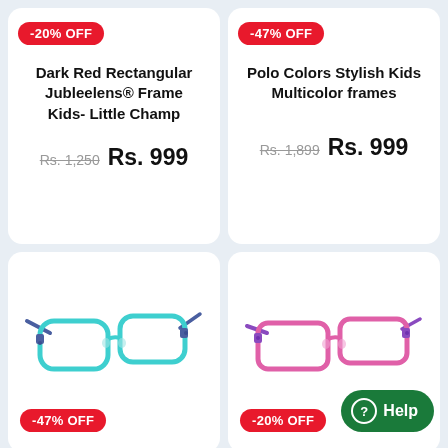[Figure (other): Product card top-left: Dark Red Rectangular Jubleelens Frame Kids- Little Champ with -20% OFF badge. Old price Rs. 1,250, new price Rs. 999]
[Figure (other): Product card top-right: Polo Colors Stylish Kids Multicolor frames with -47% OFF badge. Old price Rs. 1,899, new price Rs. 999]
[Figure (photo): Small Transparent Blue kids eyeglasses with blue temples, teal frame, with -47% OFF badge]
[Figure (photo): Pink Rectangular kids eyeglasses with purple temples, pink frame, with -20% OFF badge]
Small Transparent Blue
Pink Rectangular